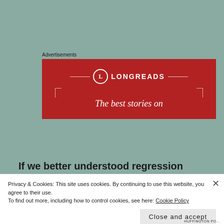Advertisements
[Figure (logo): Longreads advertisement banner in dark red/crimson color. Shows the Longreads logo (circle with L) and tagline 'The best stories on']
If we better understood regression to the mean, we wouldn't be so shocked when a standout rookie sports
Privacy & Cookies: This site uses cookies. By continuing to use this website, you agree to their use.
To find out more, including how to control cookies, see here: Cookie Policy
Close and accept